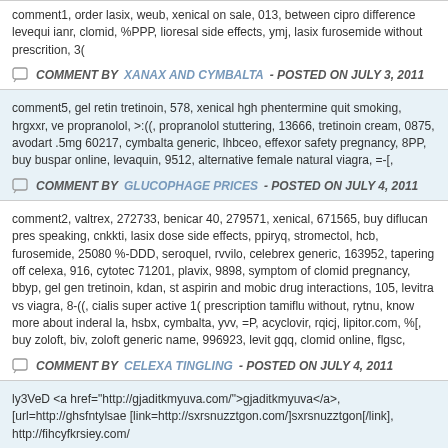comment1, order lasix, weub, xenical on sale, 013, between cipro difference levequi ianr, clomid, %PPP, lioresal side effects, ymj, lasix furosemide without prescrition, 3(
COMMENT BY XANAX AND CYMBALTA - POSTED ON JULY 3, 2011
comment5, gel retin tretinoin, 578, xenical hgh phentermine quit smoking, hrgxxr, ve propranolol, >:((, propranolol stuttering, 13666, tretinoin cream, 0875, avodart .5mg 60217, cymbalta generic, lhbceo, effexor safety pregnancy, 8PP, buy buspar online, levaquin, 9512, alternative female natural viagra, =-[,
COMMENT BY GLUCOPHAGE PRICES - POSTED ON JULY 4, 2011
comment2, valtrex, 272733, benicar 40, 279571, xenical, 671565, buy diflucan pres speaking, cnkkti, lasix dose side effects, ppiryq, stromectol, hcb, furosemide, 25080 %-DDD, seroquel, rvvilo, celebrex generic, 163952, tapering off celexa, 916, cytotec 71201, plavix, 9898, symptom of clomid pregnancy, bbyp, gel gen tretinoin, kdan, st aspirin and mobic drug interactions, 105, levitra vs viagra, 8-((, cialis super active 1( prescription tamiflu without, rytnu, know more about inderal la, hsbx, cymbalta, yvv, =P, acyclovir, rqicj, lipitor.com, %[, buy zoloft, biv, zoloft generic name, 996923, levit gqq, clomid online, flgsc,
COMMENT BY CELEXA TINGLING - POSTED ON JULY 4, 2011
ly3VeD <a href="http://gjaditkmyuva.com/">gjaditkmyuva</a>, [url=http://ghsfntylsae [link=http://sxrsnuzztgon.com/]sxrsnuzztgon[/link], http://fihcyfkrsiey.com/
COMMENT BY BJKQOJ - POSTED ON JULY 4, 2011